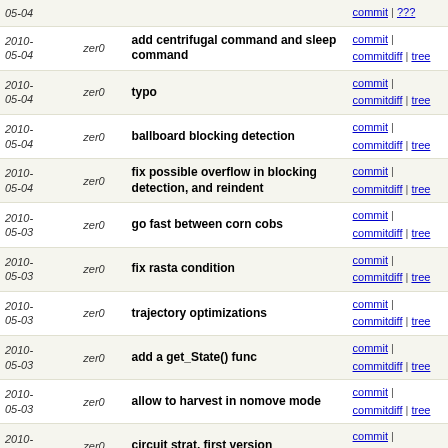| date | author | message | links |
| --- | --- | --- | --- |
| 2010-05-04 | zer0 | add centrifugal command and sleep command | commit | commitdiff | tree |
| 2010-05-04 | zer0 | typo | commit | commitdiff | tree |
| 2010-05-04 | zer0 | ballboard blocking detection | commit | commitdiff | tree |
| 2010-05-04 | zer0 | fix possible overflow in blocking detection, and reindent | commit | commitdiff | tree |
| 2010-05-03 | zer0 | go fast between corn cobs | commit | commitdiff | tree |
| 2010-05-03 | zer0 | fix rasta condition | commit | commitdiff | tree |
| 2010-05-03 | zer0 | trajectory optimizations | commit | commitdiff | tree |
| 2010-05-03 | zer0 | add a get_State() func | commit | commitdiff | tree |
| 2010-05-03 | zer0 | allow to harvest in nomove mode | commit | commitdiff | tree |
| 2010-05-02 | zer0 | circuit strat, first version | commit | commitdiff | tree |
| 2010-05-02 | zer0 | dont launch adc on mainboard | commit | commitdiff | tree |
| 2010-05-02 | zer0 | shovel speed and carry servo optim | commit | commitdiff | tree |
| 2010-05-02 | zer0 | enhance debug sensors on ballboard | commit | commitdiff | tree |